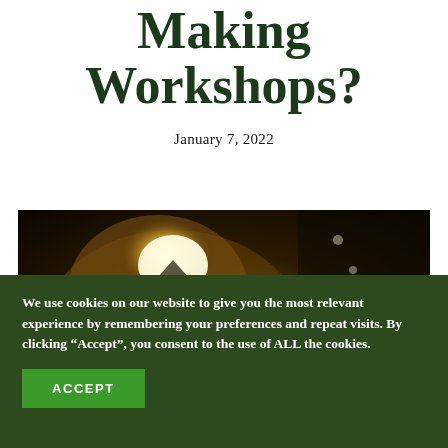Making Workshops?
January 7, 2022
[Figure (photo): Blurred photo of a Christmas tree with warm glowing lights, bokeh effect, dark background with additional string lights visible to the right]
We use cookies on our website to give you the most relevant experience by remembering your preferences and repeat visits. By clicking “Accept”, you consent to the use of ALL the cookies.